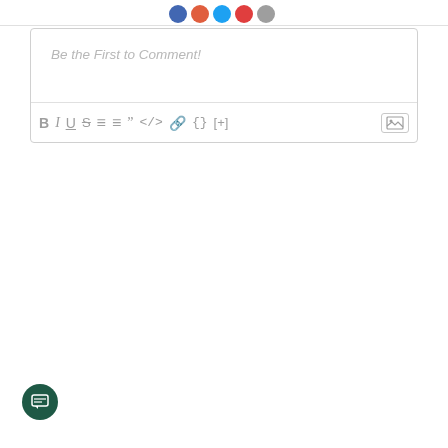[Figure (other): Social sharing icon buttons (blue, orange, light blue, red, gray circles) in a row at top center]
[Figure (screenshot): Comment text editor box with placeholder text 'Be the First to Comment!' and a formatting toolbar with bold, italic, underline, strikethrough, ordered list, unordered list, blockquote, code, link, braces, plus, and image buttons]
[Figure (other): Dark green circular chat/comment floating action button (FAB) in bottom-left corner with a speech bubble icon]